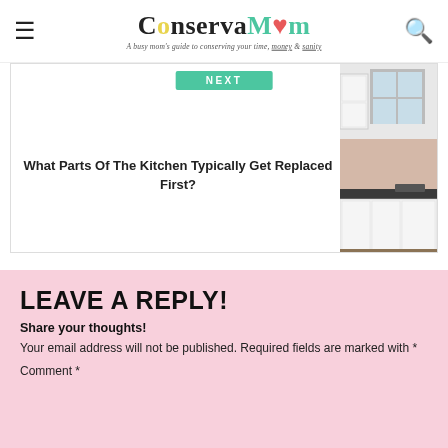ConservaMom — A busy mom's guide to conserving your time, money & sanity
NEXT
What Parts Of The Kitchen Typically Get Replaced First?
[Figure (photo): Photo of a white kitchen with dark countertops and window]
LEAVE A REPLY!
Share your thoughts!
Your email address will not be published. Required fields are marked with *
Comment *